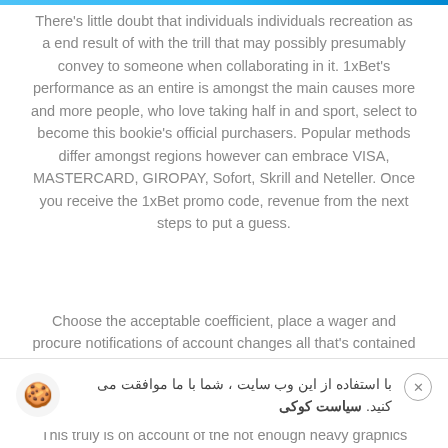There's little doubt that individuals individuals recreation as a end result of with the trill that may possibly presumably convey to someone when collaborating in it. 1xBet's performance as an entire is amongst the main causes more and more people, who love taking half in and sport, select to become this bookie's official purchasers. Popular methods differ amongst regions however can embrace VISA, MASTERCARD, GIROPAY, Sofort, Skrill and Neteller. Once you receive the 1xBet promo code, revenue from the next steps to put a guess.
Choose the acceptable coefficient, place a wager and procure notifications of account changes all that's contained
[Figure (other): Cookie consent banner with cookie emoji icon, Persian text reading 'با استفاده از این وب سایت ، شما با ما موافقت می کنید. سیاست کوکی' and a close button]
This truly is on account of the not enough heavy graphics